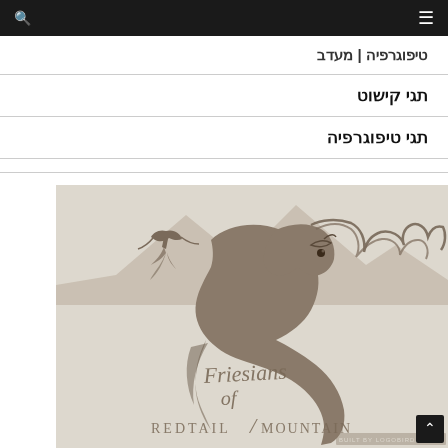🔍  ≡
טיפוגרפיה | מעדב
תגי קישוט
תגי טיפוגרפיה
[Figure (logo): Friesians of Redtail Mountain logo embossed on cream/beige paper. Shows a stylized horse with flowing mane and a bird (redtail hawk) in flight, with mountain silhouette behind. Cursive script reads 'Friesians of' and serif capitals below read 'REDTAIL MOUNTAIN'. Brown/taupe tones on cream background.]